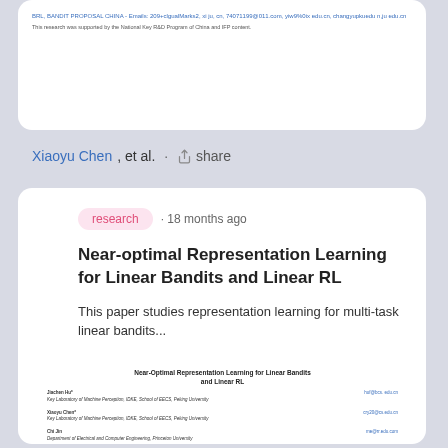BRL, BANDIT PROPOSAL CHINA - Emails: 209+clgualMarks2, xi ju, cn, 74071199@011.com, yiw9%0ix edu.cn, changyupkuedu n,ju edu.cn
This research was supported by the National Key R&D Program of China and IFP content.
Xiaoyu Chen, et al. · share
research · 18 months ago
Near-optimal Representation Learning for Linear Bandits and Linear RL
This paper studies representation learning for multi-task linear bandits...
[Figure (screenshot): Preview thumbnail of the paper 'Near-Optimal Representation Learning for Linear Bandits and Linear RL' showing the title and list of authors: Jiachen Hu, Xiaoyu Chen, Chi Jin, Lihuang Li, Liwei Wang, with their affiliations (Key Laboratory of Machine Perception, IDKE, School of EECS, Peking University; Department of Electrical and Computer Engineering, Princeton University; Amazon) and email addresses.]